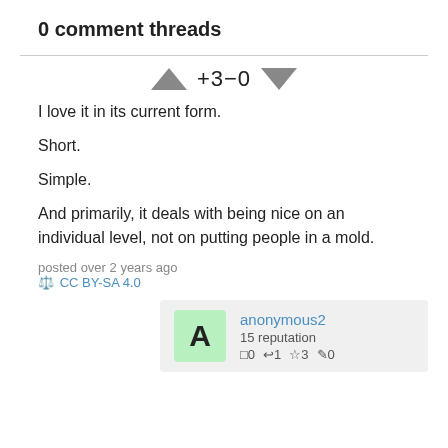0 comment threads
[Figure (other): Vote indicator showing up arrow, +3-0 score, and down arrow]
I love it in its current form.

Short.

Simple.

And primarily, it deals with being nice on an individual level, not on putting people in a mold.
posted over 2 years ago
⚖️ CC BY-SA 4.0
anonymous2
15 reputation
□0 ↩1 ☆3 ✏0